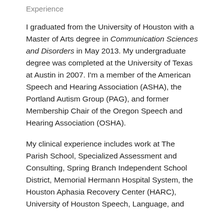Experience
I graduated from the University of Houston with a Master of Arts degree in Communication Sciences and Disorders in May 2013. My undergraduate degree was completed at the University of Texas at Austin in 2007. I'm a member of the American Speech and Hearing Association (ASHA), the Portland Autism Group (PAG), and former Membership Chair of the Oregon Speech and Hearing Association (OSHA).
My clinical experience includes work at The Parish School, Specialized Assessment and Consulting, Spring Branch Independent School District, Memorial Hermann Hospital System, the Houston Aphasia Recovery Center (HARC), University of Houston Speech, Language, and